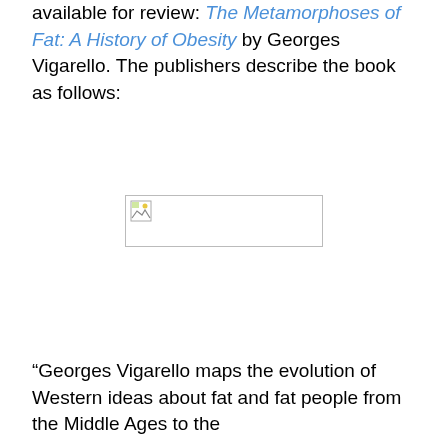available for review: The Metamorphoses of Fat: A History of Obesity by Georges Vigarello. The publishers describe the book as follows:
[Figure (photo): A broken/missing image placeholder shown as a small image icon with a border rectangle, centered on the page.]
“Georges Vigarello maps the evolution of Western ideas about fat and fat people from the Middle Ages to the